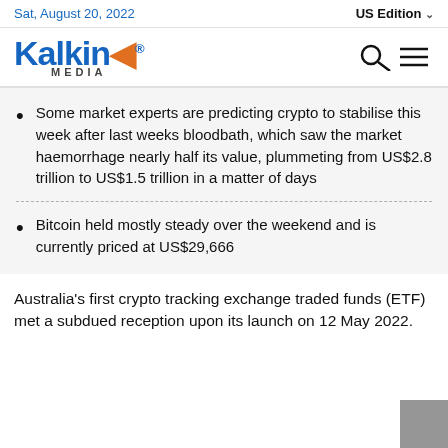Sat, August 20, 2022 | US Edition
[Figure (logo): Kalkine Media logo with search and menu icons]
Some market experts are predicting crypto to stabilise this week after last weeks bloodbath, which saw the market haemorrhage nearly half its value, plummeting from US$2.8 trillion to US$1.5 trillion in a matter of days
Bitcoin held mostly steady over the weekend and is currently priced at US$29,666
Australia's first crypto tracking exchange traded funds (ETF) met a subdued reception upon its launch on 12 May 2022.